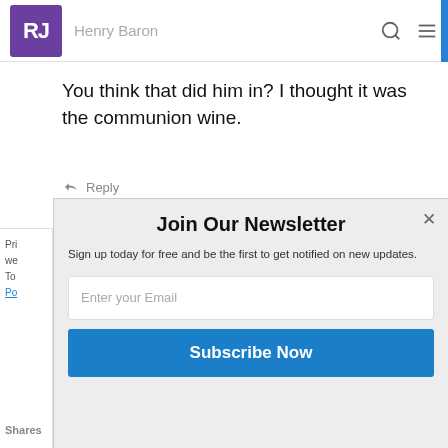RJ | Henry Baron
You think that did him in? I thought it was the communion wine.
↩ Reply
[Figure (logo): POWERED BY SUMO badge with crown icon]
Pri we To Po
Join Our Newsletter
Sign up today for free and be the first to get notified on new updates.
Enter your Email
Subscribe Now
Shares